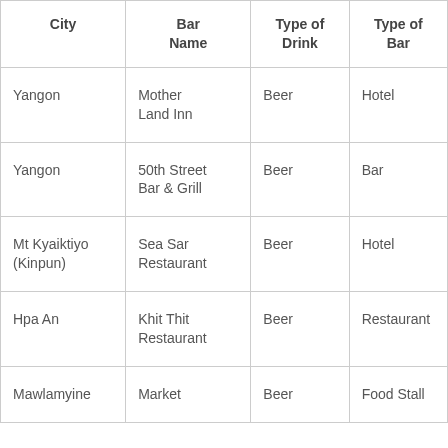| City | Bar Name | Type of Drink | Type of Bar |
| --- | --- | --- | --- |
| Yangon | Mother Land Inn | Beer | Hotel |
| Yangon | 50th Street Bar & Grill | Beer | Bar |
| Mt Kyaiktiyo (Kinpun) | Sea Sar Restaurant | Beer | Hotel |
| Hpa An | Khit Thit Restaurant | Beer | Restaurant |
| Mawlamyine | Market | Beer | Food Stall |